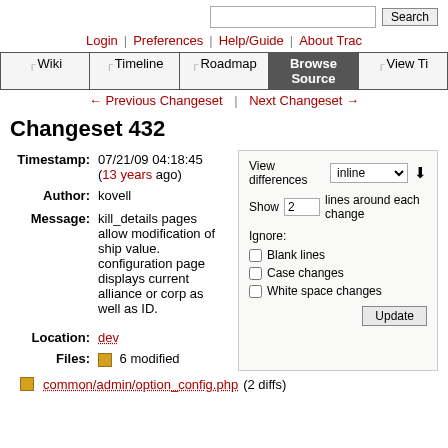Search [search button]
Login | Preferences | Help/Guide | About Trac
Wiki | Timeline | Roadmap | Browse Source | View Ti...
← Previous Changeset | Next Changeset →
Changeset 432
Timestamp: 07/21/09 04:18:45 (13 years ago)
Author: kovell
Message: kill_details pages allow modification of ship value. configuration page displays current alliance or corp as well as ID.
Location: dev
Files: 6 modified
common/admin/option_config.php (2 diffs)